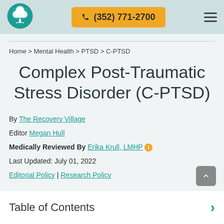[Figure (logo): Circular teal logo with white tree illustration]
(352) 771-2700
Home > Mental Health > PTSD > C-PTSD
Complex Post-Traumatic Stress Disorder (C-PTSD)
By The Recovery Village
Editor Megan Hull
Medically Reviewed By Erika Krull, LMHP
Last Updated: July 01, 2022
Editorial Policy | Research Policy
Table of Contents